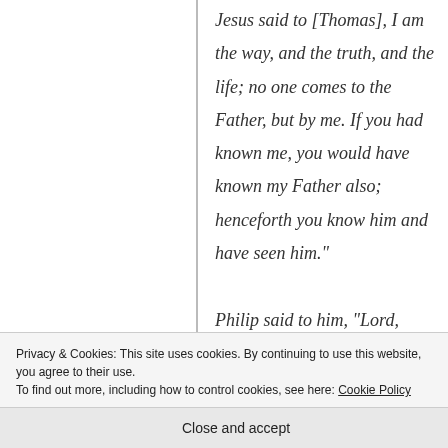Jesus said to [Thomas], I am the way, and the truth, and the life; no one comes to the Father, but by me. If you had known me, you would have known my Father also; henceforth you know him and have seen him."

Philip said to him, "Lord, show us the Father and we shall be satisfied." Jesus said to him, "Have I been with you so long, and yet you do not know me, Philip? he who
Privacy & Cookies: This site uses cookies. By continuing to use this website, you agree to their use.
To find out more, including how to control cookies, see here: Cookie Policy
Close and accept